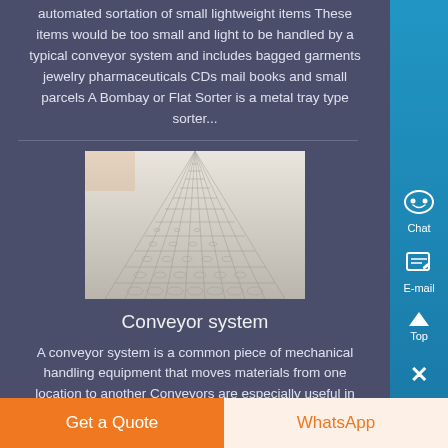automated sortation of small lightweight items These items would be too small and light to be handled by a typical conveyor system and includes bagged garments jewelry pharmaceuticals CDs mail books and small parcels A Bombay or Flat Sorter is a metal tray type sorter...
[Figure (photo): Close-up photograph of a metallic mesh or grid conveyor surface, shot at a perspective angle showing the repeating diamond/hexagonal pattern extending into the distance.]
Conveyor system
A conveyor system is a common piece of mechanical handling equipment that moves materials from one location to another Conveyors are especially useful in applications involving the transport of heavy or bulky materials Conveyor systems allow quick